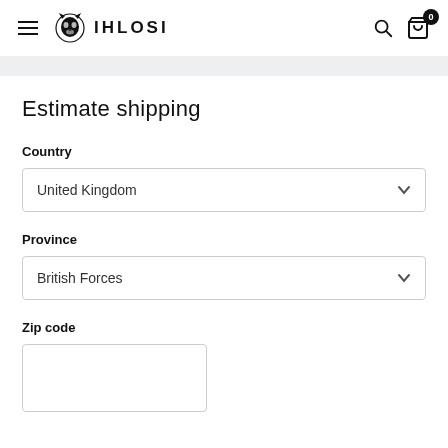IHLOSI — navigation header with hamburger menu, logo, search icon, and cart icon showing 0 items
Estimate shipping
Country
United Kingdom
Province
British Forces
Zip code